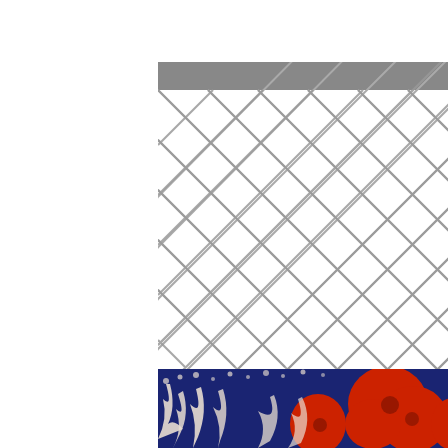[Figure (illustration): Fabric swatch with gray bamboo lattice trellis pattern on white background, with gray horizontal bars at top and bottom borders.]
[Figure (illustration): Fabric swatch with bold red poppy/floral pattern on dark navy blue background with white leaf/stem details.]